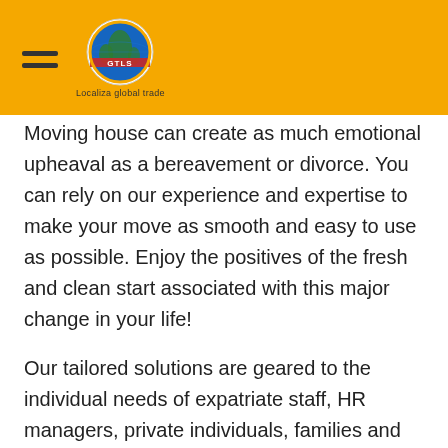[Figure (logo): GTLS logo with globe icon and text 'Localiza global trade' on a yellow header bar with hamburger menu icon]
Moving house can create as much emotional upheaval as a bereavement or divorce. You can rely on our experience and expertise to make your move as smooth and easy to use as possible. Enjoy the positives of the fresh and clean start associated with this major change in your life!
Our tailored solutions are geared to the individual needs of expatriate staff, HR managers, private individuals, families and diplomats. We offer a range of services that include careful packing of your belongings, completing administrative and customs procedures, finding accommodation and helping you to get to know the area. You can